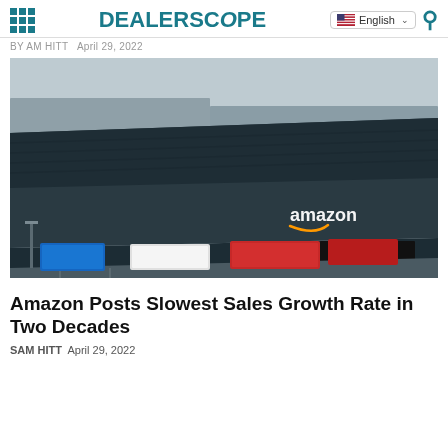DEALERSCOPE | English
BY AM HITT  April 29, 2022
[Figure (photo): Aerial view of an Amazon warehouse/fulfillment center with trucks parked at loading docks. The large dark building has the Amazon logo and smile visible on its side.]
Amazon Posts Slowest Sales Growth Rate in Two Decades
SAM HITT  April 29, 2022